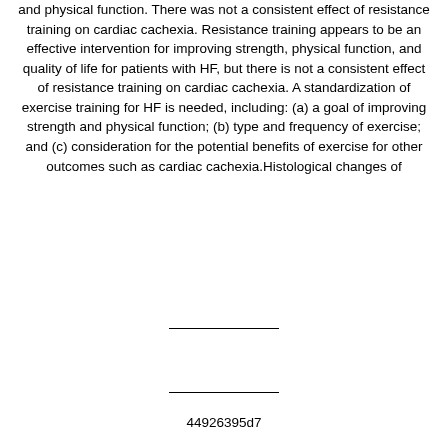and physical function. There was not a consistent effect of resistance training on cardiac cachexia. Resistance training appears to be an effective intervention for improving strength, physical function, and quality of life for patients with HF, but there is not a consistent effect of resistance training on cardiac cachexia. A standardization of exercise training for HF is needed, including: (a) a goal of improving strength and physical function; (b) type and frequency of exercise; and (c) consideration for the potential benefits of exercise for other outcomes such as cardiac cachexia.Histological changes of
44926395d7